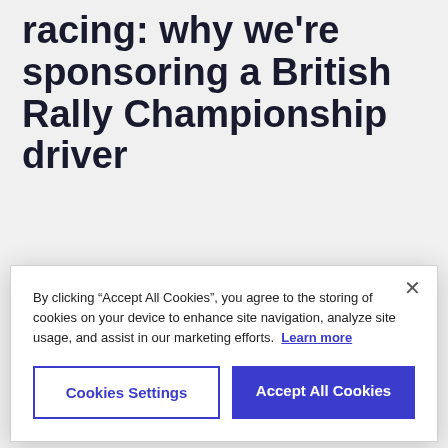racing: why we're sponsoring a British Rally Championship driver
Since April, the very best drivers in the world of rally racing have been tearing around the UK for
[Figure (screenshot): Cookie consent modal dialog with close button (×), descriptive text about cookies, a 'Learn more' link, and two buttons: 'Cookies Settings' (outlined) and 'Accept All Cookies' (filled blue).]
Blackheath and one of the